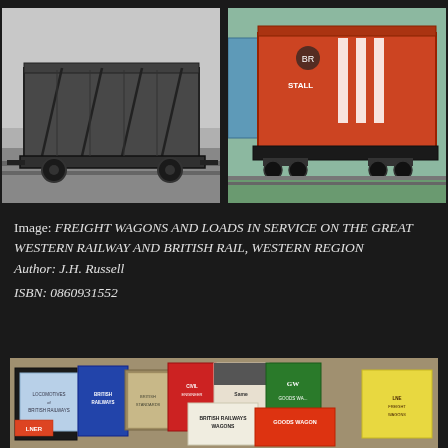[Figure (photo): Black and white photograph of a GWR freight wagon/goods van, high-sided open wagon with diagonal bracing visible]
[Figure (photo): Color photograph of a red/orange British Rail freight van with white lettering, parked next to a blue vehicle on a track]
Image: FREIGHT WAGONS AND LOADS IN SERVICE ON THE GREAT WESTERN RAILWAY AND BRITISH RAIL, WESTERN REGION Author: J.H. Russell ISBN: 0860931552
[Figure (photo): Color photograph of a collection of railway books and pamphlets spread out, including titles like British Railways Wagons, Goods Wagons, GW Goods Wagons, LNE Freight Wagons, and other railway reference materials]